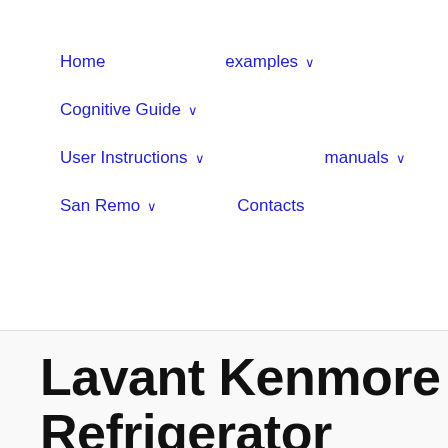Home    examples ∨
Cognitive Guide ∨
User Instructions ∨    manuals ∨
San Remo ∨    Contacts
Lavant Kenmore Refrigerator